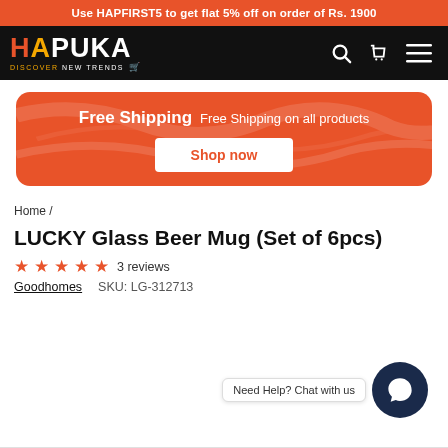Use HAPFIRST5 to get flat 5% off on order of Rs. 1900
[Figure (logo): HAPUKA logo with tagline DISCOVER NEW TRENDS on black navigation bar with search, cart, and menu icons]
[Figure (infographic): Orange rounded banner: Free Shipping - Free Shipping on all products, with Shop now button]
Home /
LUCKY Glass Beer Mug (Set of 6pcs)
★★★★½ 3 reviews
Goodhomes   SKU: LG-312713